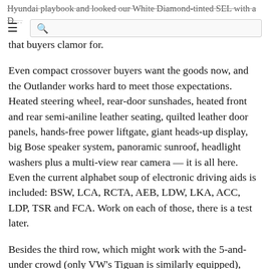Hyundai playbook and looked our White Diamond-tinted SEL with a D...
that buyers clamor for.
Even compact crossover buyers want the goods now, and the Outlander works hard to meet those expectations. Heated steering wheel, rear-door sunshades, heated front and rear semi-aniline leather seating, quilted leather door panels, hands-free power liftgate, giant heads-up display, big Bose speaker system, panoramic sunroof, headlight washers plus a multi-view rear camera — it is all here. Even the current alphabet soup of electronic driving aids is included: BSW, LCA, RCTA, AEB, LDW, LKA, ACC, LDP, TSR and FCA. Work on each of those, there is a test later.
Besides the third row, which might work with the 5-and-under crowd (only VW's Tiguan is similarly equipped), there are triple climate zones as well as an oversized 12.3-inch driver's info panel straight ahead